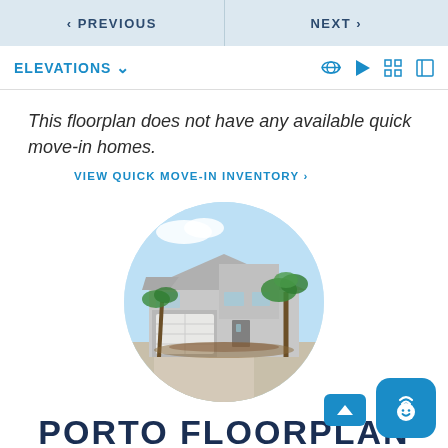< PREVIOUS    NEXT >
ELEVATIONS
This floorplan does not have any available quick move-in homes.
VIEW QUICK MOVE-IN INVENTORY >
[Figure (photo): Circular cropped photo of a modern single-story house with gray stucco exterior, two-car garage, palm trees, and landscaped front yard under a blue sky.]
PORTO FLOORPLAN
PALM BEACH COUNTY